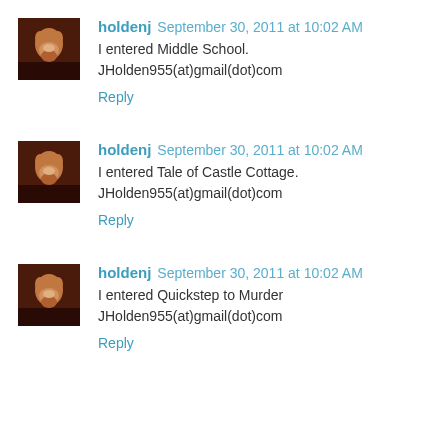holdenj  September 30, 2011 at 10:02 AM
I entered Middle School.
JHolden955(at)gmail(dot)com
Reply
holdenj  September 30, 2011 at 10:02 AM
I entered Tale of Castle Cottage.
JHolden955(at)gmail(dot)com
Reply
holdenj  September 30, 2011 at 10:02 AM
I entered Quickstep to Murder
JHolden955(at)gmail(dot)com
Reply